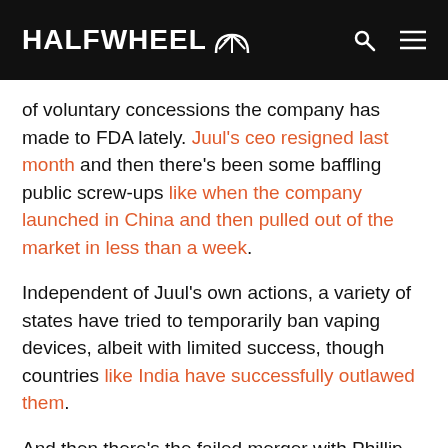HALFWHEEL
of voluntary concessions the company has made to FDA lately. Juul's ceo resigned last month and then there's been some baffling public screw-ups like when the company launched in China and then pulled out of the market in less than a week.
Independent of Juul's own actions, a variety of states have tried to temporarily ban vaping devices, albeit with limited success, though countries like India have successfully outlawed them.
And then there's the failed merger with Phillip Morris International (PMI). Altria owns Phillip Morris USA and used to own Phillip Morris International. In 2008, for a